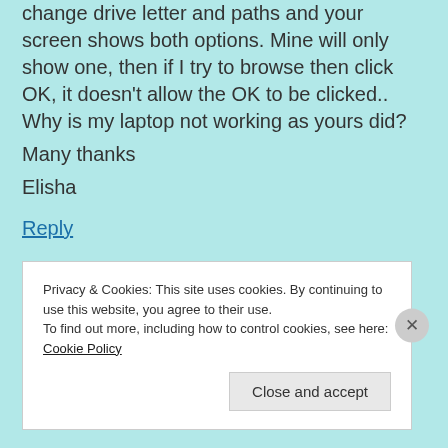change drive letter and paths and your screen shows both options. Mine will only show one, then if I try to browse then click OK, it doesn't allow the OK to be clicked.. Why is my laptop not working as yours did?
Many thanks
Elisha
Reply
Privacy & Cookies: This site uses cookies. By continuing to use this website, you agree to their use.
To find out more, including how to control cookies, see here: Cookie Policy
Close and accept